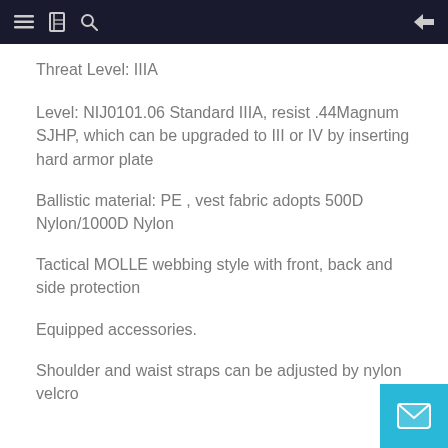≡  📖  🔍  ←
Threat Level: IIIA
Level: NIJ0101.06 Standard IIIA, resist .44Magnum SJHP, which can be upgraded to III or IV by inserting hard armor plate
Ballistic material: PE , vest fabric adopts 500D Nylon/1000D Nylon
Tactical MOLLE webbing style with front, back and side protection
Equipped accessories.
Shoulder and waist straps can be adjusted by nylon velcro